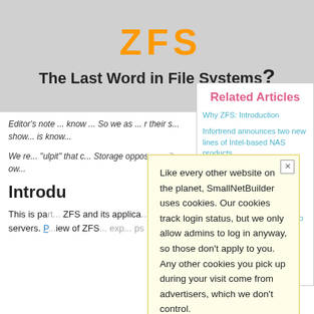[Figure (screenshot): Top banner with orange ZFS logo text and subtitle 'The Last Word in File Systems?']
The Last Word in File Systems?
Related Articles
Why ZFS: Introduction
Infortrend announces two new lines of Intel-based NAS products
Data Recovery Tales: Recovering A Really Big Storage Space Pool
Data Recovery Tales: When Windows Storage Spaces Go Bad
Data Recovery Tales: Why ZFS Can't Recover A Windows 8 Drive
Editor's note text (partially obscured)
Introduction
This is part... ZFS and its applica... age servers. P... iew of ZFS... exp... ps
Like every other website on the planet, SmallNetBuilder uses cookies. Our cookies track login status, but we only allow admins to log in anyway, so those don't apply to you. Any other cookies you pick up during your visit come from advertisers, which we don't control.
If you continue to use the site, you agree to tolerate our use of cookies. Thank you!